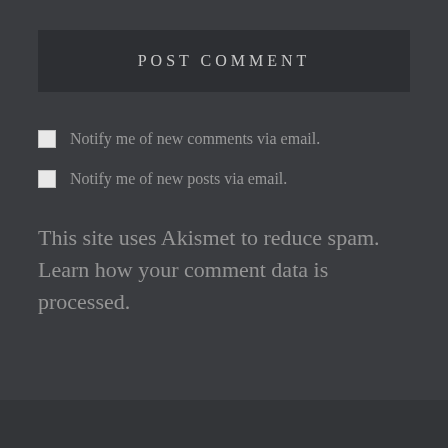POST COMMENT
Notify me of new comments via email.
Notify me of new posts via email.
This site uses Akismet to reduce spam. Learn how your comment data is processed.